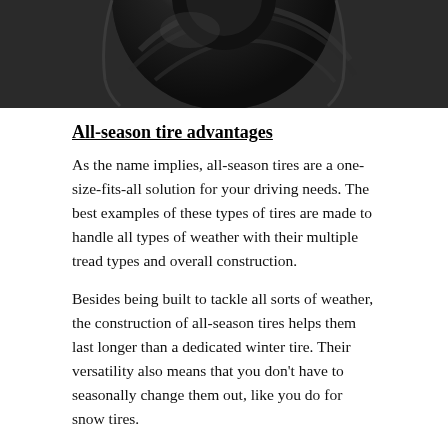[Figure (photo): Cropped circular view of a dark tire tread, close-up photo showing tire rubber texture against a dark background]
All-season tire advantages
As the name implies, all-season tires are a one-size-fits-all solution for your driving needs. The best examples of these types of tires are made to handle all types of weather with their multiple tread types and overall construction.
Besides being built to tackle all sorts of weather, the construction of all-season tires helps them last longer than a dedicated winter tire. Their versatility also means that you don't have to seasonally change them out, like you do for snow tires.
Snow tire advantages